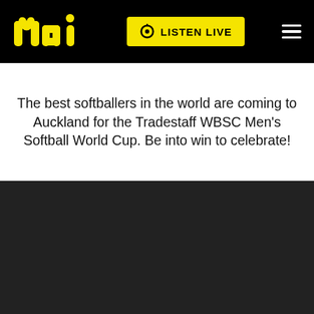mai | LISTEN LIVE
The best softballers in the world are coming to Auckland for the Tradestaff WBSC Men's Softball World Cup. Be into win to celebrate!
[Figure (photo): Promotional banner for Mai FM Lunch Breaks show. A smiling woman with long brown wavy hair wearing a pink striped shirt against a dark textured background. Text overlay shows 'mai' logo in white outline letters, 'LUNCH' in large bold yellow text, and 'BREAKS' in large bold white text.]